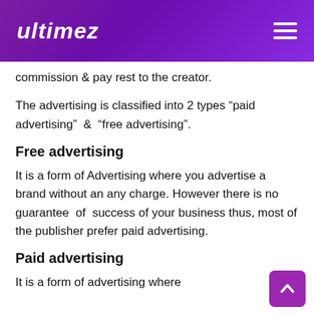ultimez
commission & pay rest to the creator.
The advertising is classified into 2 types “paid advertising”  &  “free advertising”.
Free advertising
It is a form of Advertising where you advertise a brand without an any charge. However there is no guarantee  of  success of your business thus, most of the publisher prefer paid advertising.
Paid advertising
It is a form of advertising where